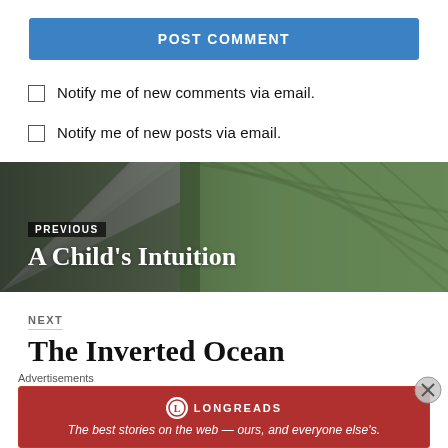POST COMMENT
Notify me of new comments via email.
Notify me of new posts via email.
[Figure (photo): Aerial view of farmland with green grass strips and grey road/path, used as navigation banner background for 'Previous: A Child's Intuition']
PREVIOUS
A Child's Intuition
NEXT
The Inverted Ocean
Advertisements
[Figure (logo): Longreads advertisement banner: logo circle with L, text LONGREADS, tagline 'The best stories on the web — ours, and everyone else's.']